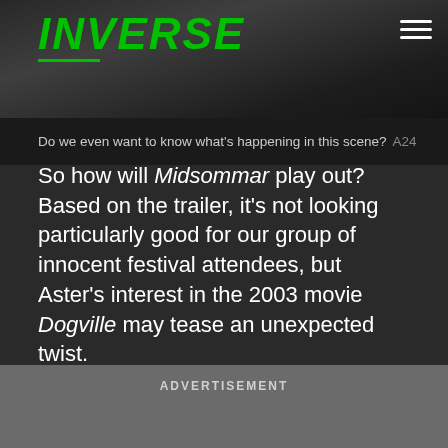INVERSE
Do we even want to know what's happening in this scene? A24
So how will Midsommar play out? Based on the trailer, it's not looking particularly good for our group of innocent festival attendees, but Aster's interest in the 2003 movie Dogville may tease an unexpected twist.
ADVERTISEMENT